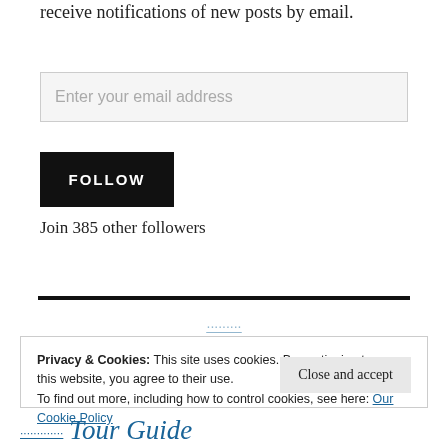receive notifications of new posts by email.
Enter your email address
FOLLOW
Join 385 other followers
Privacy & Cookies: This site uses cookies. By continuing to use this website, you agree to their use. To find out more, including how to control cookies, see here: Our Cookie Policy
Close and accept
Tour Guide